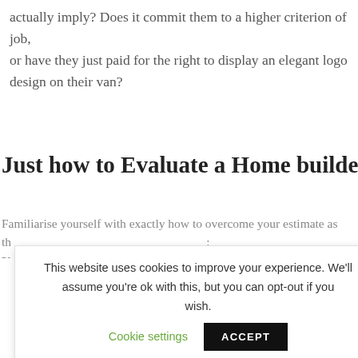actually imply? Does it commit them to a higher criterion of job, or have they just paid for the right to display an elegant logo design on their van?
Just how to Evaluate a Home builder's Quote
Familiarise yourself with exactly how to overcome your estimate as th
This website uses cookies to improve your experience. We'll assume you're ok with this, but you can opt-out if you wish.  Cookie settings  ACCEPT
Is it broken down?
Exists a split in between materials and labour?
Is client connection monitoring (CRM) included? This is the work of keeping everybody in the loop– most notably you!
Is a Wellness & Security record included in the rate?
Does it cover everything you have requested?